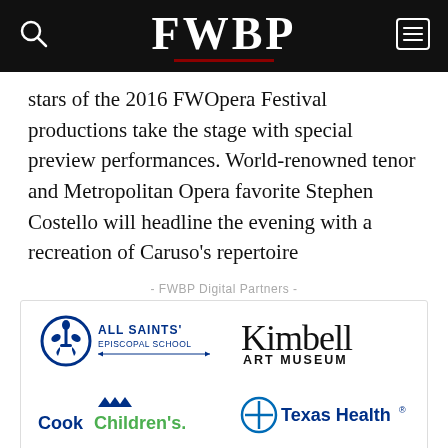FWBP
stars of the 2016 FWOpera Festival productions take the stage with special preview performances. World-renowned tenor and Metropolitan Opera favorite Stephen Costello will headline the evening with a recreation of Caruso's repertoire
- FWBP Digital Partners -
[Figure (logo): All Saints' Episcopal School logo]
[Figure (logo): Kimbell Art Museum logo]
[Figure (logo): Cook Children's logo]
[Figure (logo): Texas Health logo]
[Figure (logo): D&M Leasing logo]
[Figure (logo): Fort Worth Stock Show & Rodeo logo]